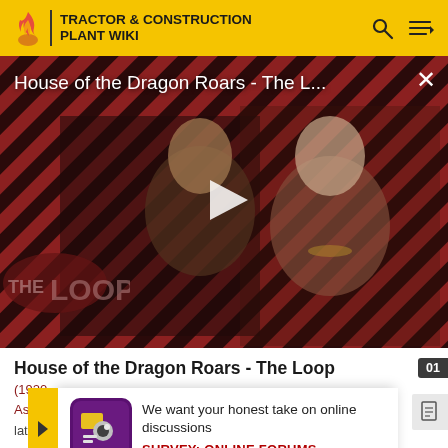TRACTOR & CONSTRUCTION PLANT WIKI
[Figure (screenshot): Video thumbnail for 'House of the Dragon Roars - The L...' showing two characters in medieval fantasy costumes against a diagonal red and black striped background. A play button is overlaid in the center. 'THE LOOP' text badge is in the lower left. An X close button is in the upper right.]
House of the Dragon Roars - The Loop
We want your honest take on online discussions
SURVEY: ONLINE FORUMS
(1920... Aspi... but later s... manu...